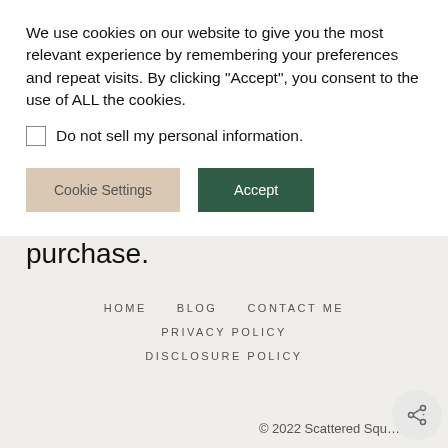We use cookies on our website to give you the most relevant experience by remembering your preferences and repeat visits. By clicking “Accept”, you consent to the use of ALL the cookies.
Do not sell my personal information.
Cookie Settings
Accept
purchase.
HOME
BLOG
CONTACT ME
PRIVACY POLICY
DISCLOSURE POLICY
© 2022 Scattered Squ…